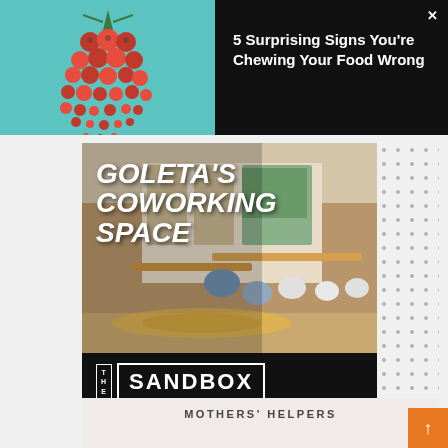[Figure (photo): Top banner ad with berry/fruit illustration on teal background on the left, and article teaser on black background on the right with a close X button]
5 Surprising Signs You're Chewing Your Food Wrong
[Figure (photo): The Sandbox coworking space advertisement featuring an interior photo of a co-working space with text 'Goleta's Coworking Space', The Sandbox logo, 'Goleta Location NOW OPEN!' and '69 Santa Felicia Drive']
MOTHERS' HELPERS